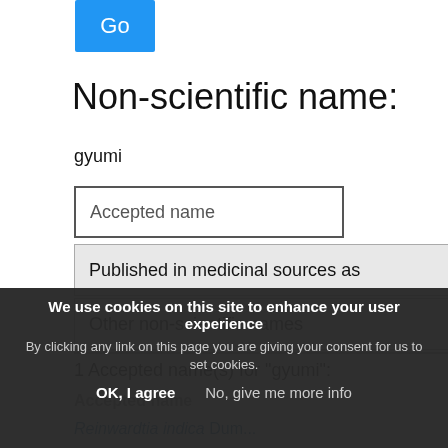[Figure (screenshot): Blue 'Go' button]
Non-scientific name:
gyumi
Accepted name
Published in medicinal sources as
Other non-scientific names
1 Accepted name(s) for "gyumi":
We use cookies on this site to enhance your user experience
By clicking any link on this page you are giving your consent for us to set cookies.
OK, I agree    No, give me more info